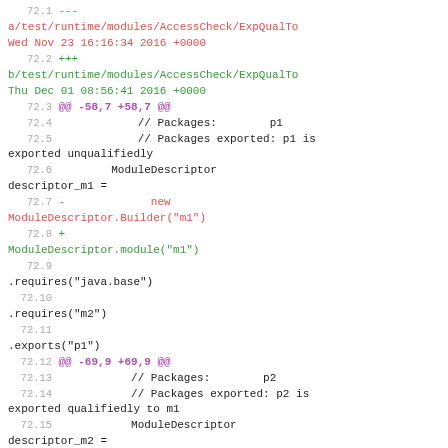72.1 --- a/test/runtime/modules/AccessCheck/ExpQualTo
Wed Nov 23 16:16:34 2016 +0000
72.2 +++ b/test/runtime/modules/AccessCheck/ExpQualTo
Thu Dec 01 08:56:41 2016 +0000
72.3 @@ -58,7 +58,7 @@
72.4           // Packages:        p1
72.5           // Packages exported: p1 is exported unqualifiedly
72.6           ModuleDescriptor descriptor_m1 =
72.7  -              new ModuleDescriptor.Builder("m1")
72.8  +  ModuleDescriptor.module("m1")
72.9     .requires("java.base")
72.10    .requires("m2")
72.11    .exports("p1")
72.12 @@ -69,9 +69,9 @@
72.13          // Packages:        p2
72.14          // Packages exported: p2 is exported qualifiedly to m1
72.15          ModuleDescriptor descriptor_m2 =